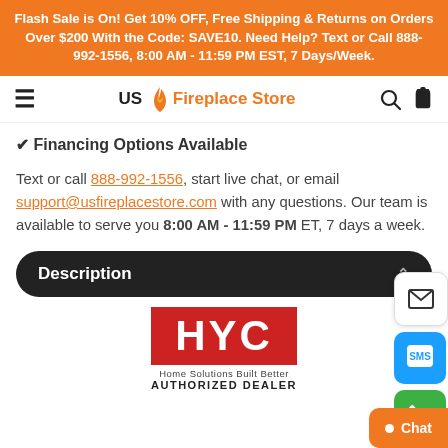Flash Sale is On! Get 10% OFF, Free Shipping & Returns on Orders Over $200 With the Code: SAVE10. Need Help? Text or Call 888-992-1556, 8:00 AM - 11:59 PM EST, 7 Days/Week.
[Figure (logo): US Fireplace Store logo with flame icon, hamburger menu, search and cart icons]
✔ Financing Options Available
Text or call 888-992-1556, start live chat, or email support@usfireplacestore.com with any questions. Our team is available to serve you 8:00 AM - 11:59 PM ET, 7 days a week.
Description
[Figure (logo): HYC Home Solutions Built Better - Authorized Dealer logo with red background]